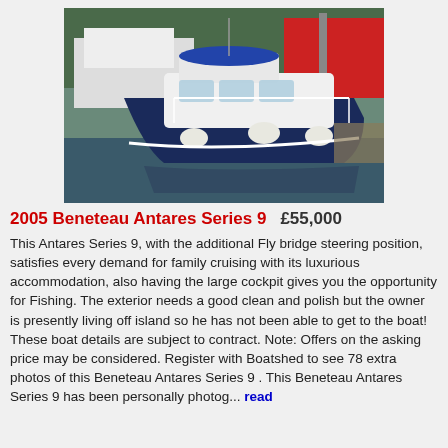[Figure (photo): A navy blue and white Beneteau Antares Series 9 motorboat moored in a marina, with fenders visible along the sides, a flybridge on top, and other boats including a white motorboat and a red sailboat visible in the background.]
2005 Beneteau Antares Series 9   £55,000
This Antares Series 9, with the additional Fly bridge steering position, satisfies every demand for family cruising with its luxurious accommodation, also having the large cockpit gives you the opportunity for Fishing. The exterior needs a good clean and polish but the owner is presently living off island so he has not been able to get to the boat! These boat details are subject to contract. Note: Offers on the asking price may be considered. Register with Boatshed to see 78 extra photos of this Beneteau Antares Series 9 . This Beneteau Antares Series 9 has been personally photog... read